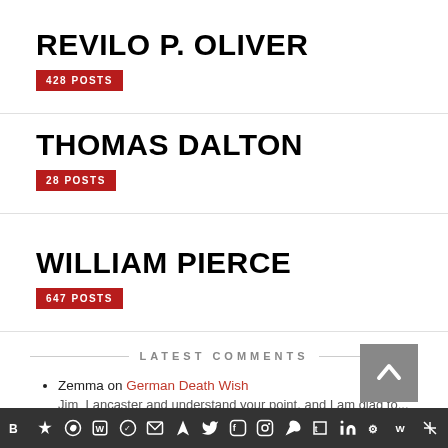REVILO P. OLIVER
428 POSTS
THOMAS DALTON
28 POSTS
WILLIAM PIERCE
647 POSTS
LATEST COMMENTS
Zemma on German Death Wish
Jim_Lancaster and understand your point, and I am glad to
Social media icons bar